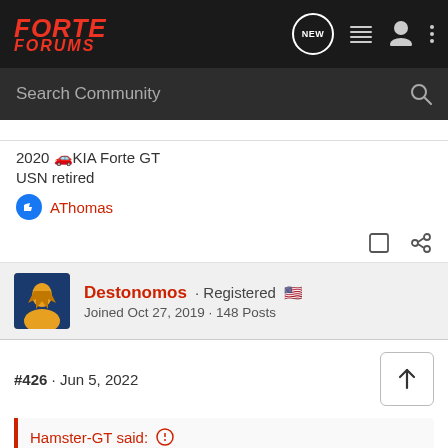FORTE FORUMS — Navigation bar with search
2020 🚗KIA Forte GT
USN retired
AThomas
Destonomos · Registered 🇺🇸
Joined Oct 27, 2019 · 148 Posts
#426 · Jun 5, 2022
Hamster-GT said: ⊕
My experiment was a success! Science. View attachment 87581